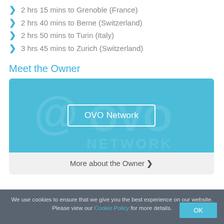2 hrs 15 mins to Grenoble (France)
2 hrs 40 mins to Berne (Switzerland)
2 hrs 50 mins to Turin (Italy)
3 hrs 45 mins to Zurich (Switzerland)
Meet the Owner
[Figure (logo): OVO Network owner card with blue background showing OVO Network logo watermark and a white-bordered button labeled 'OVO Network', with a footer section showing 'More about the Owner' with a right chevron]
We use cookies to ensure that we give you the best experience on our website. Please view our Cookie Policy for more details.